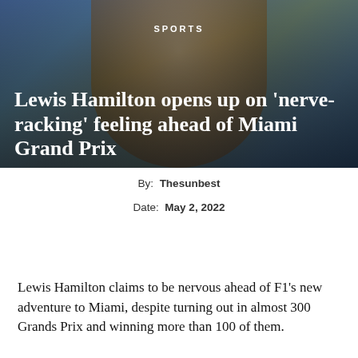[Figure (photo): Close-up photo of Lewis Hamilton wearing a denim jacket, against a blue background, with SPORTS category label and headline overlaid on the image]
Lewis Hamilton opens up on 'nerve-racking' feeling ahead of Miami Grand Prix
By:  Thesunbest
Date:  May 2, 2022
Lewis Hamilton claims to be nervous ahead of F1's new adventure to Miami, despite turning out in almost 300 Grands Prix and winning more than 100 of them.